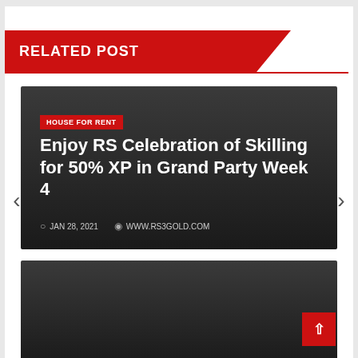RELATED POST
[Figure (other): Dark themed post card with category tag HOUSE FOR RENT, title Enjoy RS Celebration of Skilling for 50% XP in Grand Party Week 4, date JAN 28, 2021 and author WWW.RS3GOLD.COM]
HOUSE FOR RENT
Enjoy RS Celebration of Skilling for 50% XP in Grand Party Week 4
JAN 28, 2021   WWW.RS3GOLD.COM